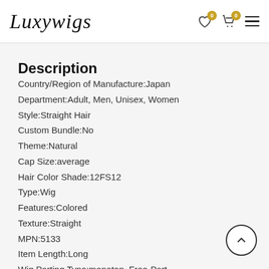Luxywigs
Description
Country/Region of Manufacture:Japan
Department:Adult, Men, Unisex, Women
Style:Straight Hair
Custom Bundle:No
Theme:Natural
Cap Size:average
Hair Color Shade:12FS12
Type:Wig
Features:Colored
Texture:Straight
MPN:5133
Item Length:Long
Wig Parting Type:monotop, Free-Part
Age Group:Adult